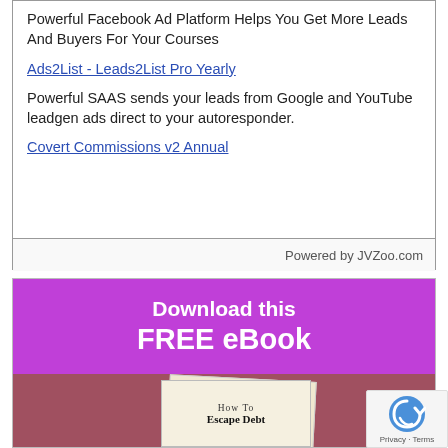Powerful Facebook Ad Platform Helps You Get More Leads And Buyers For Your Courses
Ads2List - Leads2List Pro Yearly
Powerful SAAS sends your leads from Google and YouTube leadgen ads direct to your autoresponder.
Covert Commissions v2 Annual
Powered by JVZoo.com
[Figure (infographic): Purple background ad banner reading 'Download this FREE eBook' above a reddish-brown section showing a book illustration titled 'How To Escape Debt']